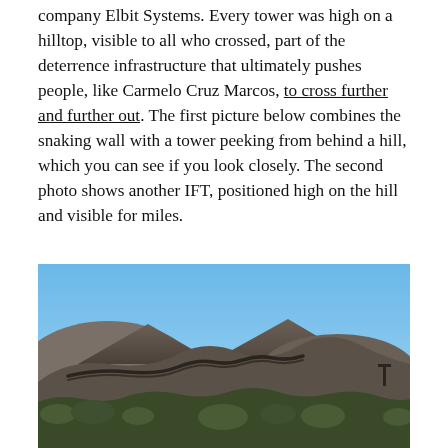company Elbit Systems. Every tower was high on a hilltop, visible to all who crossed, part of the deterrence infrastructure that ultimately pushes people, like Carmelo Cruz Marcos, to cross further and further out. The first picture below combines the snaking wall with a tower peeking from behind a hill, which you can see if you look closely. The second photo shows another IFT, positioned high on the hill and visible for miles.
[Figure (photo): Outdoor landscape photograph showing a snaking border wall crossing over rugged, rocky hills under a clear blue sky, with desert scrub vegetation in the foreground.]